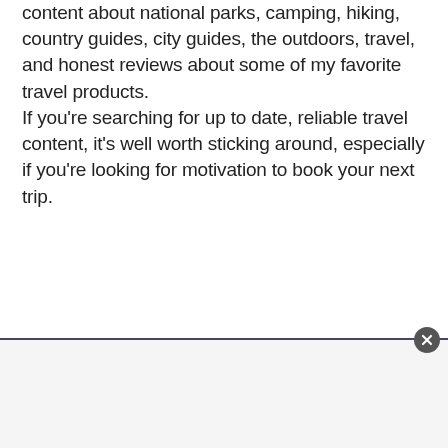content about national parks, camping, hiking, country guides, city guides, the outdoors, travel, and honest reviews about some of my favorite travel products.
If you're searching for up to date, reliable travel content, it's well worth sticking around, especially if you're looking for motivation to book your next trip.
[Figure (other): Advertisement banner at the bottom of the page with a close (X) button in the upper right corner. The banner has a dark top border and a light gray background.]